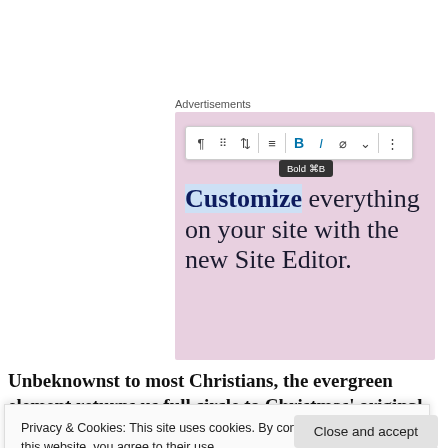Advertisements
[Figure (screenshot): WordPress block editor screenshot showing a formatting toolbar with Bold (⌘B) tooltip active, overlaid on a pink advertisement reading 'Customize everything on your site with the new Site Editor.']
Unbeknownst to most Christians, the evergreen element returns us full circle to Christmas' original
Privacy & Cookies: This site uses cookies. By continuing to use this website, you agree to their use.
To find out more, including how to control cookies, see here: Cookie Policy
Close and accept